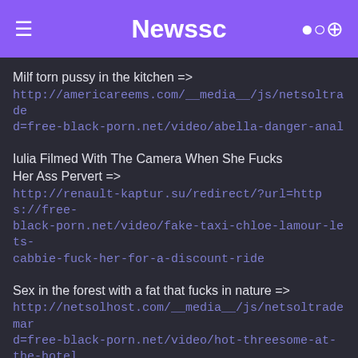Newssc
Milf torn pussy in the kitchen => http://americareems.com/__media__/js/netsoltrademark.php?d=free-black-porn.net/video/abella-danger-anal
Iulia Filmed With The Camera When She Fucks Her Ass Pervert => http://renault-kaptur.su/redirect/?url=https://free-black-porn.net/video/fake-taxi-chloe-lamour-lets-cabbie-fuck-her-for-a-discount-ride
Sex in the forest with a fat that fucks in nature => http://netsolhost.com/__media__/js/netsoltrademark.php?d=free-black-porn.net/video/hot-threesome-at-the-hotel
The beautiful pussy lets him bend over with his mouth between his mistress Xxx's legs => http://bajandoalbums.com/__media__/js/netsoltrademark.php?d=free-black-porn.net/video/blacked-this-milf-was-tired-of-waiting-around-for-her-husband